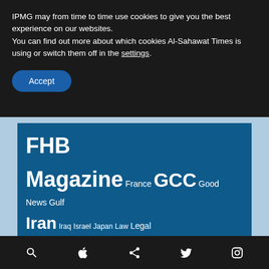IPMG may from time to time use cookies to give you the best experience on our websites. You can find out more about which cookies Al-Sahawat Times is using or switch them off in the settings.
Accept
FHB Magazine France GCC Good News Gulf Iran Iraq Israel Japan Law Legal News London Middle-East Muscat Muslims Oman Palestine Public Information Announcement Qatar Russia Saudi Arabia Spain Sport Sultan Qaboos Sultan Qaboos bin Said Al-Said Syria Travel Trump Turkey UAE UK USA Viral
search  apple  share  twitter  instagram  amazon